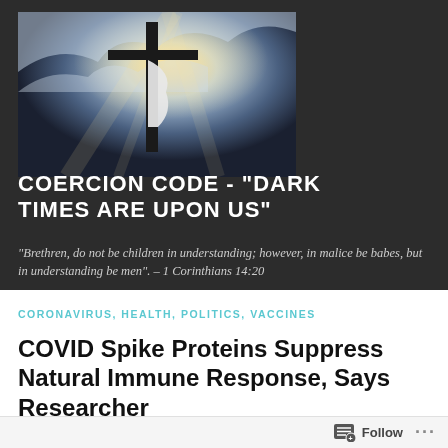[Figure (photo): A cross with a white cloth/banner against a dramatic sky with sunbeams breaking through clouds]
COERCION CODE - "DARK TIMES ARE UPON US"
"Brethren, do not be children in understanding; however, in malice be babes, but in understanding be men". – 1 Corinthians 14:20
CORONAVIRUS, HEALTH, POLITICS, VACCINES
COVID Spike Proteins Suppress Natural Immune Response, Says Researcher
Follow